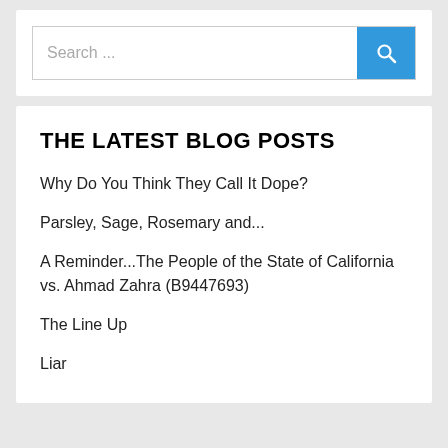[Figure (screenshot): Search bar with text 'Search ...' and a blue search button with magnifying glass icon]
THE LATEST BLOG POSTS
Why Do You Think They Call It Dope?
Parsley, Sage, Rosemary and...
A Reminder...The People of the State of California vs. Ahmad Zahra (B9447693)
The Line Up
Liar